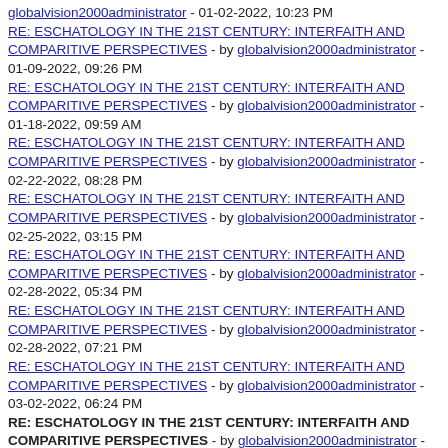globalvision2000administrator - 01-02-2022, 10:23 PM RE: ESCHATOLOGY IN THE 21ST CENTURY: INTERFAITH AND COMPARITIVE PERSPECTIVES - by globalvision2000administrator - 01-09-2022, 09:26 PM
RE: ESCHATOLOGY IN THE 21ST CENTURY: INTERFAITH AND COMPARITIVE PERSPECTIVES - by globalvision2000administrator - 01-18-2022, 09:59 AM
RE: ESCHATOLOGY IN THE 21ST CENTURY: INTERFAITH AND COMPARITIVE PERSPECTIVES - by globalvision2000administrator - 02-22-2022, 08:28 PM
RE: ESCHATOLOGY IN THE 21ST CENTURY: INTERFAITH AND COMPARITIVE PERSPECTIVES - by globalvision2000administrator - 02-25-2022, 03:15 PM
RE: ESCHATOLOGY IN THE 21ST CENTURY: INTERFAITH AND COMPARITIVE PERSPECTIVES - by globalvision2000administrator - 02-28-2022, 05:34 PM
RE: ESCHATOLOGY IN THE 21ST CENTURY: INTERFAITH AND COMPARITIVE PERSPECTIVES - by globalvision2000administrator - 02-28-2022, 07:21 PM
RE: ESCHATOLOGY IN THE 21ST CENTURY: INTERFAITH AND COMPARITIVE PERSPECTIVES - by globalvision2000administrator - 03-02-2022, 06:24 PM
RE: ESCHATOLOGY IN THE 21ST CENTURY: INTERFAITH AND COMPARITIVE PERSPECTIVES - by globalvision2000administrator - 03-04-2022, 10:05 PM